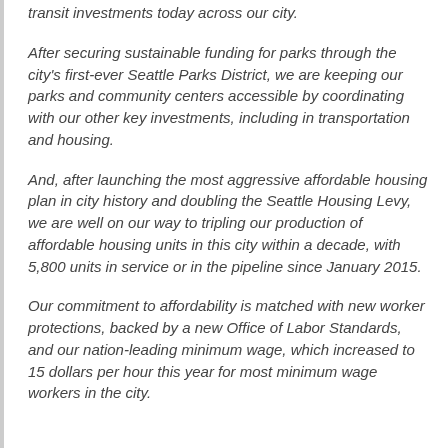transit investments today across our city.
After securing sustainable funding for parks through the city's first-ever Seattle Parks District, we are keeping our parks and community centers accessible by coordinating with our other key investments, including in transportation and housing.
And, after launching the most aggressive affordable housing plan in city history and doubling the Seattle Housing Levy, we are well on our way to tripling our production of affordable housing units in this city within a decade, with 5,800 units in service or in the pipeline since January 2015.
Our commitment to affordability is matched with new worker protections, backed by a new Office of Labor Standards, and our nation-leading minimum wage, which increased to 15 dollars per hour this year for most minimum wage workers in the city.